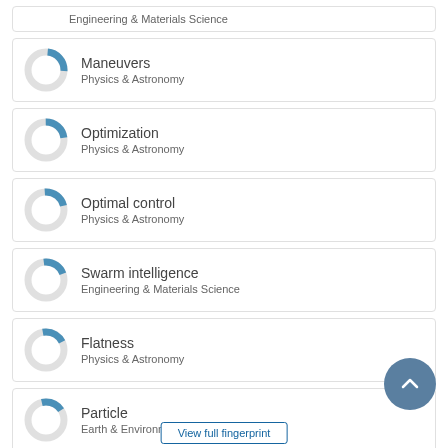Engineering & Materials Science
Maneuvers
Physics & Astronomy
Optimization
Physics & Astronomy
Optimal control
Physics & Astronomy
Swarm intelligence
Engineering & Materials Science
Flatness
Physics & Astronomy
Particle
Earth & Environmental Sciences
View full fingerprint